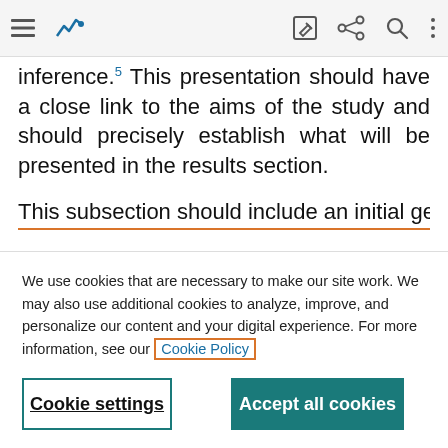[Figure (screenshot): Top navigation bar of a website with hamburger menu, analytics icon, edit icon, share icon, search icon, and more options icon]
inference.5 This presentation should have a close link to the aims of the study and should precisely establish what will be presented in the results section.
This subsection should include an initial general
We use cookies that are necessary to make our site work. We may also use additional cookies to analyze, improve, and personalize our content and your digital experience. For more information, see our Cookie Policy
Cookie settings
Accept all cookies